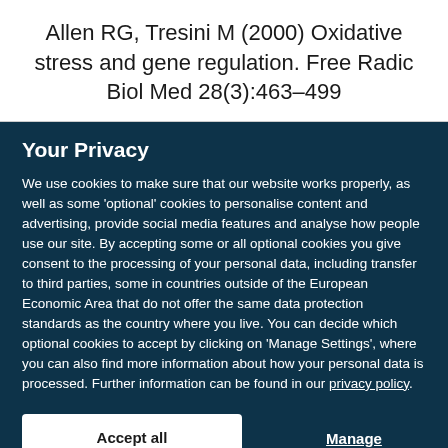Allen RG, Tresini M (2000) Oxidative stress and gene regulation. Free Radic Biol Med 28(3):463–499
Your Privacy
We use cookies to make sure that our website works properly, as well as some 'optional' cookies to personalise content and advertising, provide social media features and analyse how people use our site. By accepting some or all optional cookies you give consent to the processing of your personal data, including transfer to third parties, some in countries outside of the European Economic Area that do not offer the same data protection standards as the country where you live. You can decide which optional cookies to accept by clicking on 'Manage Settings', where you can also find more information about how your personal data is processed. Further information can be found in our privacy policy.
Accept all cookies
Manage preferences